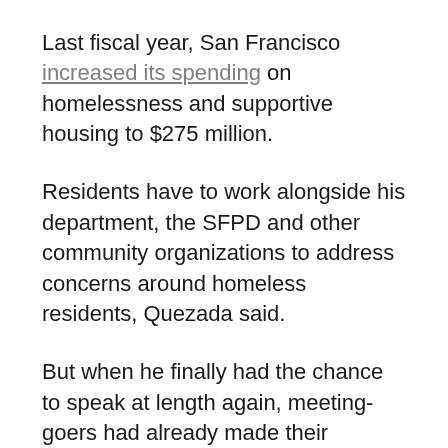Last fiscal year, San Francisco increased its spending on homelessness and supportive housing to $275 million.
Residents have to work alongside his department, the SFPD and other community organizations to address concerns around homeless residents, Quezada said.
But when he finally had the chance to speak at length again, meeting-goers had already made their concerns known, and more than half of the attendees were filing out.
We have gained 388